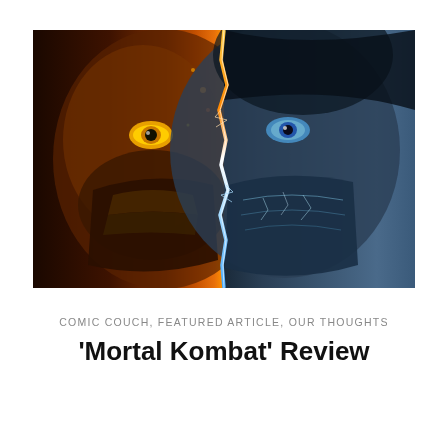[Figure (photo): Movie promotional image for Mortal Kombat showing two faces split down the middle — left side Scorpion with fiery orange/gold tones and yellow reptilian eye, right side Sub-Zero with icy blue tones and blue eye, both wearing ninja masks.]
COMIC COUCH, FEATURED ARTICLE, OUR THOUGHTS
'Mortal Kombat' Review